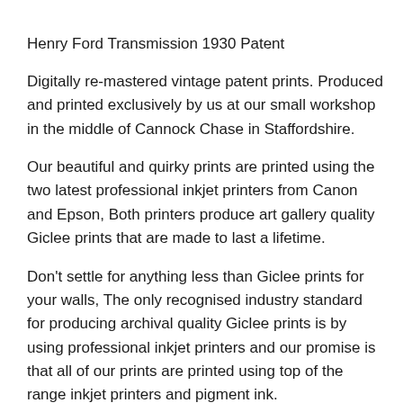Henry Ford Transmission 1930 Patent
Digitally re-mastered vintage patent prints. Produced and printed exclusively by us at our small workshop in the middle of Cannock Chase in Staffordshire.
Our beautiful and quirky prints are printed using the two latest professional inkjet printers from Canon and Epson, Both printers produce art gallery quality Giclee prints that are made to last a lifetime.
Don't settle for anything less than Giclee prints for your walls, The only recognised industry standard for producing archival quality Giclee prints is by using professional inkjet printers and our promise is that all of our prints are printed using top of the range inkjet printers and pigment ink.